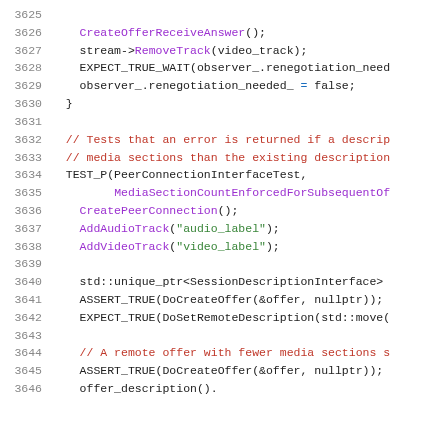[Figure (screenshot): Source code listing showing C++ test code, lines 3625-3646, with syntax highlighting. Functions, keywords, strings, and comments colored in purple, black, green, and red respectively.]